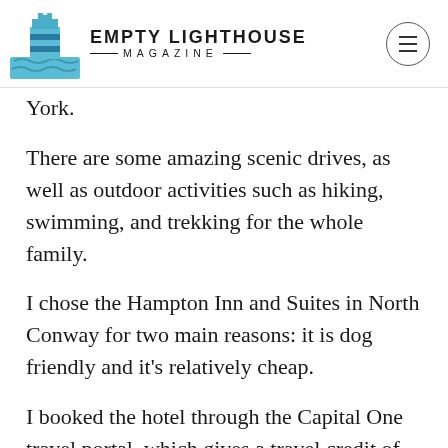EMPTY LIGHTHOUSE MAGAZINE
York.
There are some amazing scenic drives, as well as outdoor activities such as hiking, swimming, and trekking for the whole family.
I chose the Hampton Inn and Suites in North Conway for two main reasons: it is dog friendly and it's relatively cheap.
I booked the hotel through the Capital One travel portal, which gives a travel credit of $300.
I was able to use this credit to offset some of the cost of the hotel, which cost an average of almost